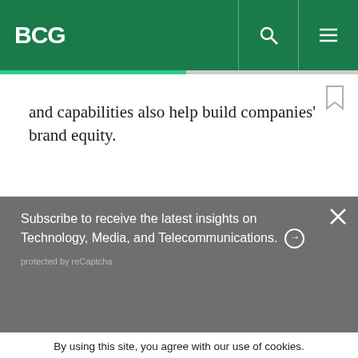BCG
and capabilities also help build companies' brand equity.
Subscribe to receive the latest insights on Technology, Media, and Telecommunications. ⊙
protected by reCaptcha
By using this site, you agree with our use of cookies.
I consent to cookies
Want to know more?
Read our Cookie Policy